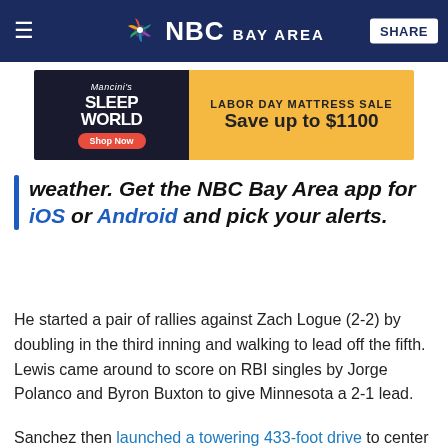NBC Bay Area
[Figure (other): Mancini's Sleepworld advertisement - Labor Day Mattress Sale Save up to $1100]
weather. Get the NBC Bay Area app for iOS or Android and pick your alerts.
He started a pair of rallies against Zach Logue (2-2) by doubling in the third inning and walking to lead off the fifth. Lewis came around to score on RBI singles by Jorge Polanco and Byron Buxton to give Minnesota a 2-1 lead.
Sanchez then launched a towering 433-foot drive to center field for his third homer of the season leading off the sixth against Domingo Acevedo and it was 3-1.